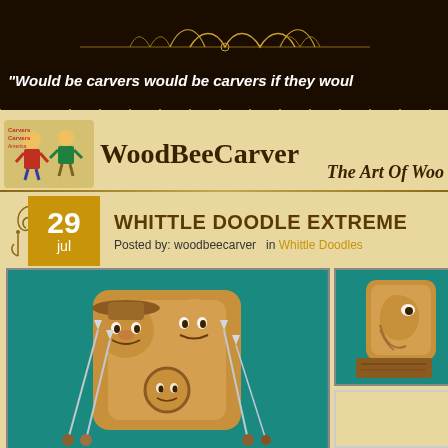“Would be carvers would be carvers if they woul…
WoodBeeCarver
The Art Of Woo…
WHITTLE DOODLE EXTREME
Posted by: woodbeecarver  in Whittle Doodles
[Figure (photo): Wood carving of two character faces with carving tools in foreground, on teal background]
[Figure (photo): Wood carving of a bearded face profile on teal background]